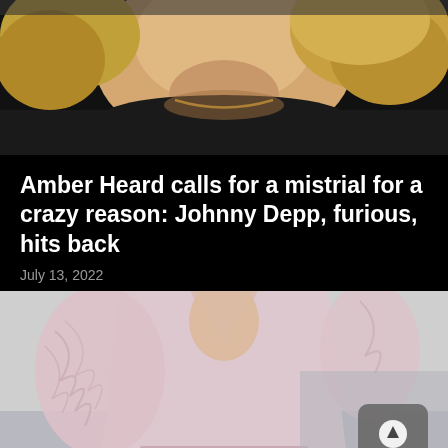[Figure (photo): Close-up photo of a blonde woman (Amber Heard) wearing a dark top and gold chain necklace, cropped at the chin/neck level]
Amber Heard calls for a mistrial for a crazy reason: Johnny Depp, furious, hits back
July 13, 2022
[Figure (photo): Photo of a woman (Amber Heard) wearing a pink feathered blazer/jacket with deep V-neckline, with a scroll-up button overlay in the bottom right corner]